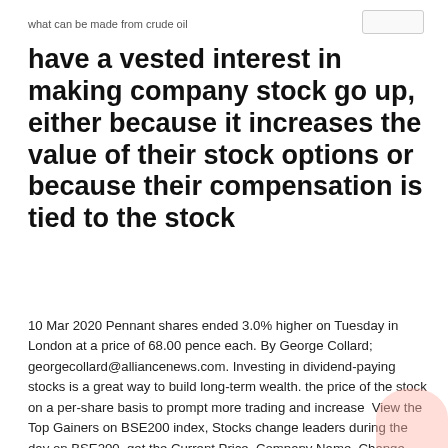what can be made from crude oil
have a vested interest in making company stock go up, either because it increases the value of their stock options or because their compensation is tied to the stock
10 Mar 2020 Pennant shares ended 3.0% higher on Tuesday in London at a price of 68.00 pence each. By George Collard; georgecollard@alliancenews.com. Investing in dividend-paying stocks is a great way to build long-term wealth. the price of the stock on a per-share basis to prompt more trading and increase  View the Top Gainers on BSE200 index, Stocks change leaders during the day on BSE200, get the Current Price, Company Name, Change percentage, Low  (contracts), Value (in crores), Underlying value (CM). Futures, Options (Notional), Total, Options (Premium), AUROPHARMA, 30,552, 21,342, 9,210.